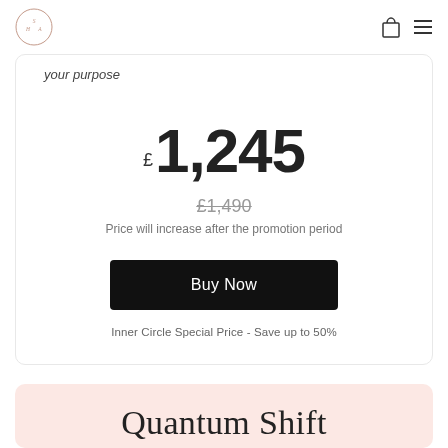SHA logo + navigation icons
your purpose
£ 1,245
£1,490
Price will increase after the promotion period
Buy Now
Inner Circle Special Price - Save up to 50%
Quantum Shift